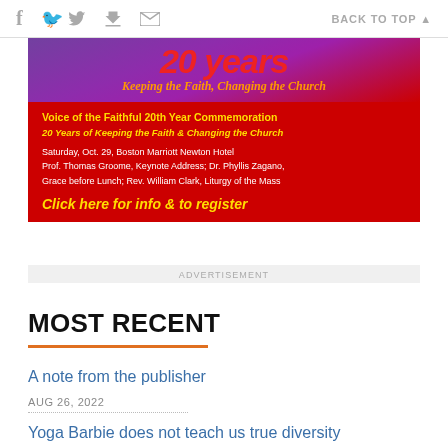Social icons (f, Twitter, print, email) | BACK TO TOP
[Figure (illustration): Voice of the Faithful 20th Year Commemoration advertisement. Purple/red background with '20 Years' text, 'Keeping the Faith, Changing the Church' tagline. Red section with event details: Saturday, Oct. 29, Boston Marriott Newton Hotel; Prof. Thomas Groome, Keynote Address; Dr. Phyllis Zagano, Grace before Lunch; Rev. William Clark, Liturgy of the Mass. Yellow text: 'Click here for info & to register']
ADVERTISEMENT
MOST RECENT
A note from the publisher
AUG 26, 2022
Yoga Barbie does not teach us true diversity